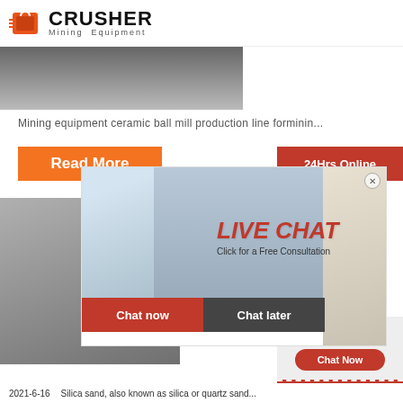[Figure (logo): Crusher Mining Equipment logo with orange shopping bag icon and bold CRUSHER text]
[Figure (photo): Industrial mining equipment ceramic ball mill production line photo]
Mining equipment ceramic ball mill production line forminin...
[Figure (photo): Industrial cement plant or mining facility with silos]
grind
silica
ball m
silica
[Figure (photo): Live chat popup overlay with female worker and group of engineers in hard hats, LIVE CHAT heading and consultation buttons]
24Hrs Online
Read More
LIVE CHAT
Click for a Free Consultation
Chat now   Chat later
Need questions
& suggestion?
Chat Now
Enquiry
limingjlmofen
@sina.com
2021-6-16   Silica sand, also known as silica or quartz sand...